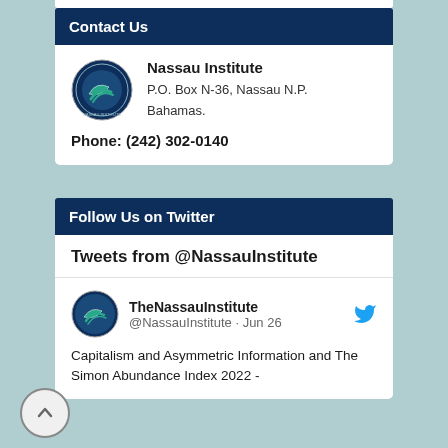Contact Us
Nassau Institute
P.O. Box N-36, Nassau N.P.
Bahamas.
Phone: (242) 302-0140
Follow Us on Twitter
Tweets from @NassauInstitute
TheNassauInstitute @NassauInstitute · Jun 26
Capitalism and Asymmetric Information and The Simon Abundance Index 2022 -